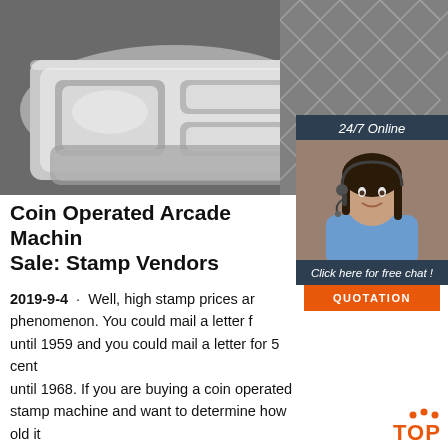[Figure (photo): Photo of stainless steel divided trays/dishes on a geometric patterned background]
[Figure (infographic): 24/7 Online chat box with photo of female customer service representative wearing headset, 'Click here for free chat!' link and orange QUOTATION button]
Coin Operated Arcade Machine Sale: Stamp Vendors
2019-9-4 · Well, high stamp prices are a recent phenomenon. You could mail a letter for until 1959 and you could mail a letter for 5 cent until 1968. If you are buying a coin operated stamp machine and want to determine how old it is, the following chart showing the history of first class stamp rates may help. 1885 0.02 1917
[Figure (logo): TOP logo with orange dots above text]